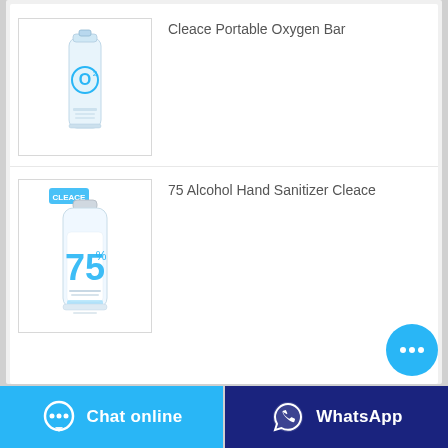[Figure (photo): Cleace Portable Oxygen Bar canister product image — white aerosol can with blue O2 logo and circular design]
Cleace Portable Oxygen Bar
[Figure (photo): 75 Alcohol Hand Sanitizer Cleace — small clear bottle with blue '75' text and Cleace branding label]
75 Alcohol Hand Sanitizer Cleace
[Figure (other): Chat bubble button overlay (cyan circle with three dots)]
Chat online   WhatsApp